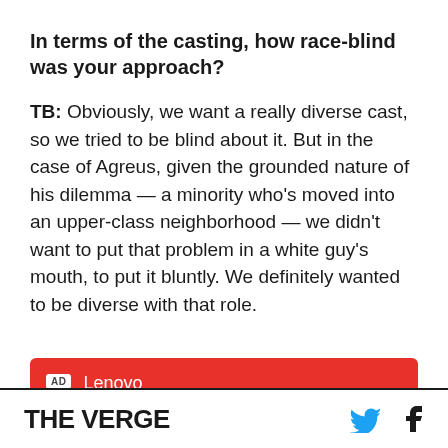In terms of the casting, how race-blind was your approach?
TB: Obviously, we want a really diverse cast, so we tried to be blind about it. But in the case of Agreus, given the grounded nature of his dilemma — a minority who's moved into an upper-class neighborhood — we didn't want to put that problem in a white guy's mouth, to put it bluntly. We definitely wanted to be diverse with that role.
[Figure (infographic): Lenovo advertisement banner with red background. AD badge on left. Text: 'Lenovo / Beautifully designed to just be you.']
THE VERGE